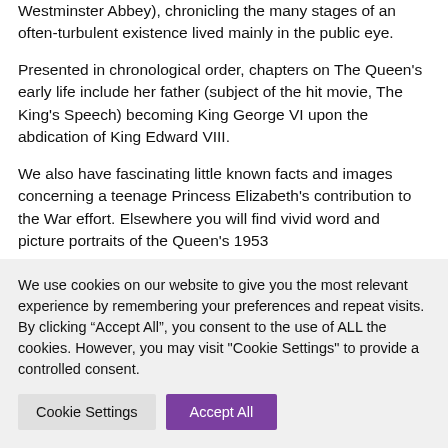Westminster Abbey), chronicling the many stages of an often-turbulent existence lived mainly in the public eye.
Presented in chronological order, chapters on The Queen's early life include her father (subject of the hit movie, The King's Speech) becoming King George VI upon the abdication of King Edward VIII.
We also have fascinating little known facts and images concerning a teenage Princess Elizabeth's contribution to the War effort. Elsewhere you will find vivid word and picture portraits of the Queen's 1953
We use cookies on our website to give you the most relevant experience by remembering your preferences and repeat visits. By clicking “Accept All”, you consent to the use of ALL the cookies. However, you may visit "Cookie Settings" to provide a controlled consent.